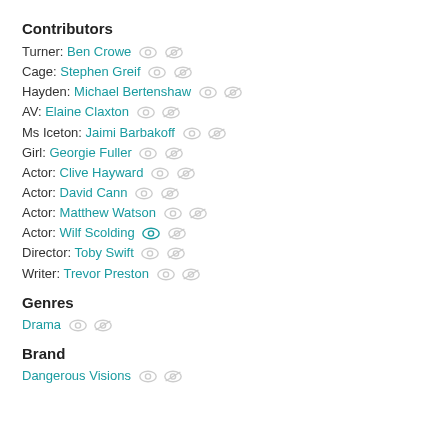Contributors
Turner: Ben Crowe
Cage: Stephen Greif
Hayden: Michael Bertenshaw
AV: Elaine Claxton
Ms Iceton: Jaimi Barbakoff
Girl: Georgie Fuller
Actor: Clive Hayward
Actor: David Cann
Actor: Matthew Watson
Actor: Wilf Scolding
Director: Toby Swift
Writer: Trevor Preston
Genres
Drama
Brand
Dangerous Visions